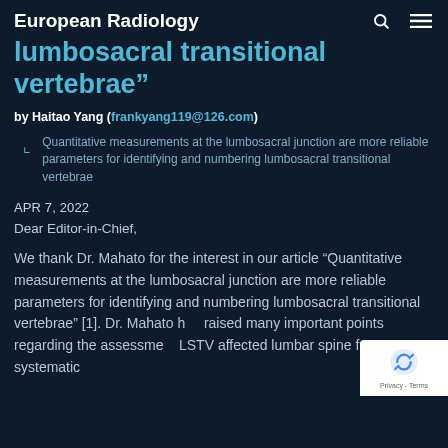European Radiology
lumbosacral transitional vertebrae"
by Haitao Yang (frankyang119@126.com)
Quantitative measurements at the lumbosacral junction are more reliable parameters for identifying and numbering lumbosacral transitional vertebrae
APR 7, 2022
Dear Editor-in-Chief,
We thank Dr. Mahato for the interest in our article “Quantitative measurements at the lumbosacral junction are more reliable parameters for identifying and numbering lumbosacral transitional vertebrae” [1]. Dr. Mahato has raised many important points regarding the assessment LSTV affected lumbar spine from a more systematic